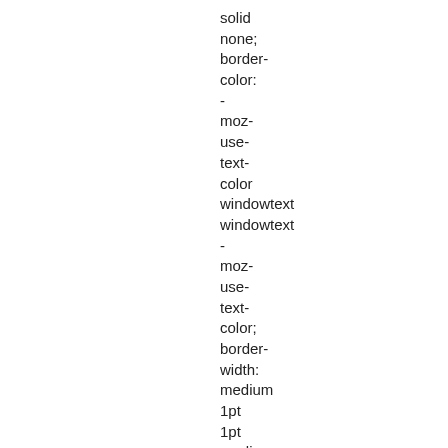solid
none;
border-
color:
-
moz-
use-
text-
color
windowtext
windowtext
-
moz-
use-
text-
color;
border-
width:
medium
1pt
1pt
medium;
padding:
0cm
5.4pt;"
valign="top">